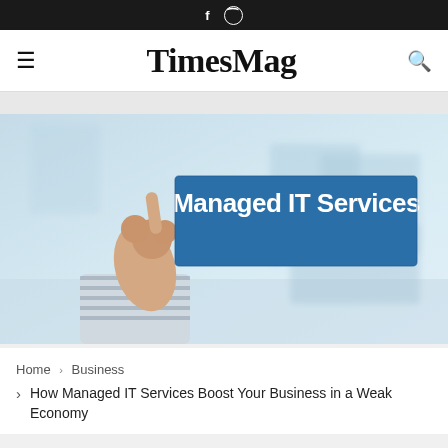f   pinterest
TimesMag
[Figure (illustration): A hand pointing at a blue banner sign reading 'Managed IT Services' against a blurred office background]
Home › Business › How Managed IT Services Boost Your Business in a Weak Economy